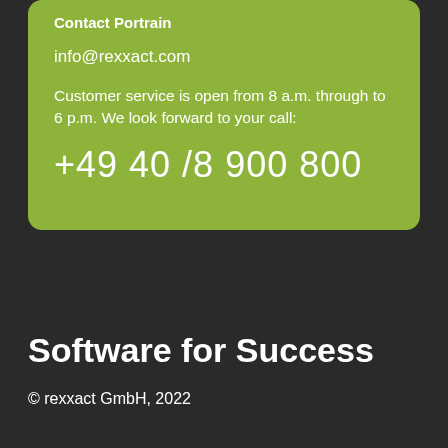Contact Portrain
info@rexxact.com
Customer service is open from 8 a.m. through to 6 p.m. We look forward to your call:
+49 40 /8 900 800
Software for Success
© rexxact GmbH, 2022